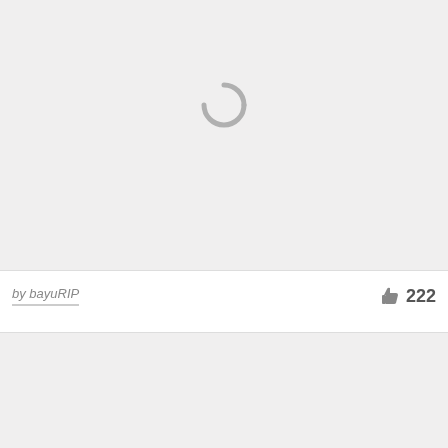[Figure (screenshot): A light gray image placeholder block with a loading spinner icon (partial circle arc in gray) centered near the top of the block.]
by bayuRIP
222
[Figure (screenshot): A second light gray image placeholder block, partially visible at the bottom of the page.]